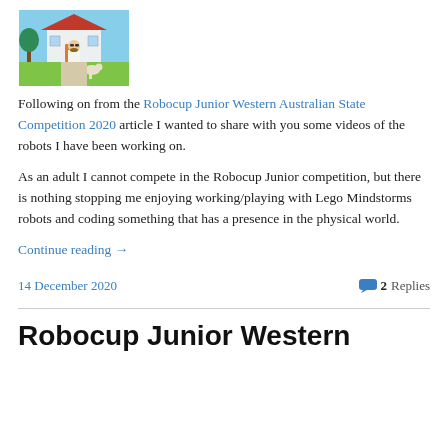[Figure (illustration): Cartoon avatar of a bearded man with sunglasses standing in front of a house with a dog]
Following on from the Robocup Junior Western Australian State Competition 2020 article I wanted to share with you some videos of the robots I have been working on.
As an adult I cannot compete in the Robocup Junior competition, but there is nothing stopping me enjoying working/playing with Lego Mindstorms robots and coding something that has a presence in the physical world.
Continue reading →
14 December 2020
2 Replies
Robocup Junior Western